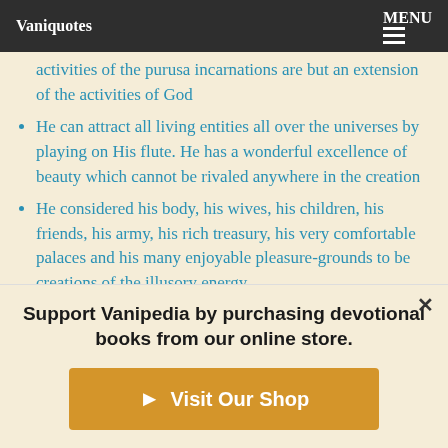Vaniquotes  MENU
activities of the purusa incarnations are but an extension of the activities of God
He can attract all living entities all over the universes by playing on His flute. He has a wonderful excellence of beauty which cannot be rivaled anywhere in the creation
He considered his body, his wives, his children, his friends, his army, his rich treasury, his very comfortable palaces and his many enjoyable pleasure-grounds to be creations of the illusory energy
He could understand that the fiery demon was a creation of Lord Siva, and in order to vanquish the demon He took His
Support Vanipedia by purchasing devotional books from our online store.
Visit Our Shop